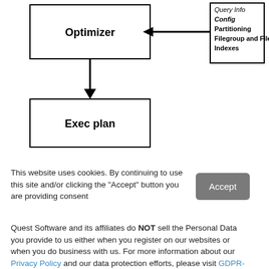[Figure (flowchart): Partial flowchart showing 'Optimizer' box with arrow from a box containing 'Config', 'Partitioning', 'Filegroup and Files', 'Indexes', and arrow pointing down to 'Exec plan' box]
This website uses cookies. By continuing to use this site and/or clicking the "Accept" button you are providing consent
Quest Software and its affiliates do NOT sell the Personal Data you provide to us either when you register on our websites or when you do business with us. For more information about our Privacy Policy and our data protection efforts, please visit GDPR-HQ